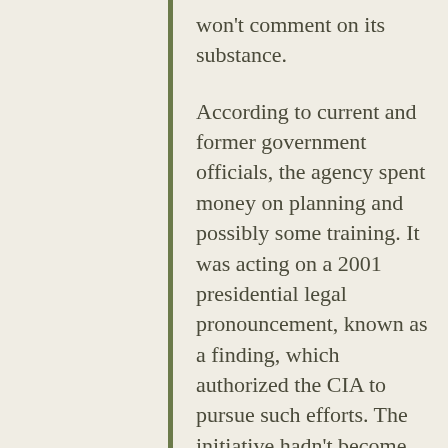won't comment on its substance.
According to current and former government officials, the agency spent money on planning and possibly some training. It was acting on a 2001 presidential legal pronouncement, known as a finding, which authorized the CIA to pursue such efforts. The initiative hadn't become fully operational at the time Mr. Panetta ended it.
In 2001, the CIA also examined the subject of targeted assassinations of al Qaeda leaders, according to three former intelligence officials. It appears that those discussions tapered off